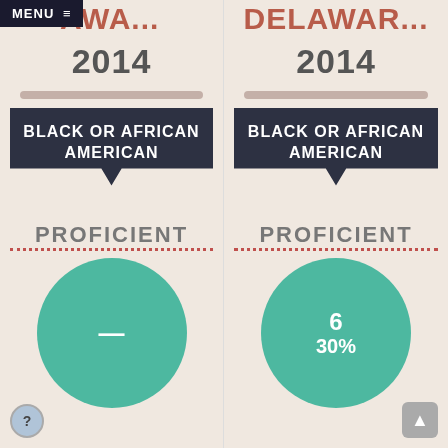MENU ≡ DELAWA... 2014 — Left column
DELAWAR... 2014 — Right column
BLACK OR AFRICAN AMERICAN
PROFICIENT
[Figure (donut-chart): Green circle with dash indicating no data]
BLACK OR AFRICAN AMERICAN
PROFICIENT
[Figure (donut-chart): Green circle showing 6 students, 30%]